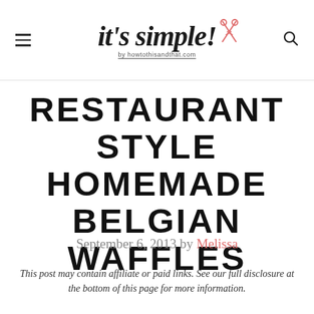it's simple! by howtothisandthat.com
RESTAURANT STYLE HOMEMADE BELGIAN WAFFLES
September 6, 2013 by Melissa
This post may contain affiliate or paid links. See our full disclosure at the bottom of this page for more information.